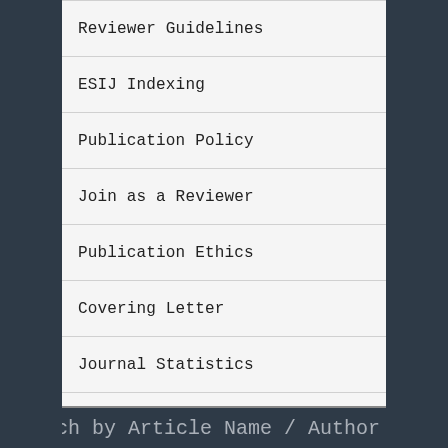Reviewer Guidelines
ESIJ Indexing
Publication Policy
Join as a Reviewer
Publication Ethics
Covering Letter
Journal Statistics
FAQ
Contact Us
Search by Article Name / Author Name